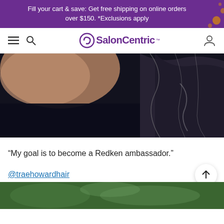Fill your cart & save: Get free shipping on online orders over $150. *Exclusions apply
[Figure (logo): SalonCentric logo with navigation bar including hamburger menu and search icon on left, user icon on right]
[Figure (photo): Close-up dark photo showing someone's neck/hair from behind, dark navy clothing, hair visible on right side]
“My goal is to become a Redken ambassador.”
@traehowardhair
[Figure (photo): Bottom portion of another photo showing green/outdoor background]